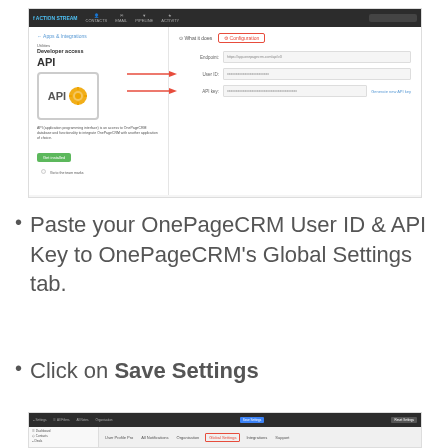[Figure (screenshot): Screenshot of ActionStream/OnePageCRM API configuration page showing nav bar, API icon with gear, Endpoint, User ID, and API Key fields with red arrows pointing to User ID and API Key fields, and a Configuration tab highlighted with red border.]
Paste your OnePageCRM User ID & API Key to OnePageCRM's Global Settings tab.
Click on Save Settings
[Figure (screenshot): Screenshot of OnePageCRM Global Settings page showing navigation tabs with 'Global Settings' tab highlighted in red border, and left sidebar menu items.]